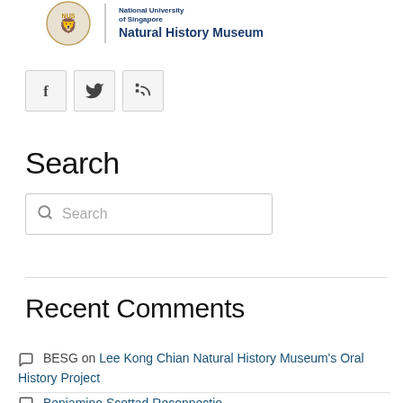[Figure (logo): Lee Kong Chian Natural History Museum logo with NUS shield and text]
[Figure (infographic): Three social media icon boxes: Facebook (f), Twitter (bird), RSS (feed icon)]
Search
Search (search box placeholder)
Recent Comments
BESG on Lee Kong Chian Natural History Museum's Oral History Project
(partial, cut off at bottom)